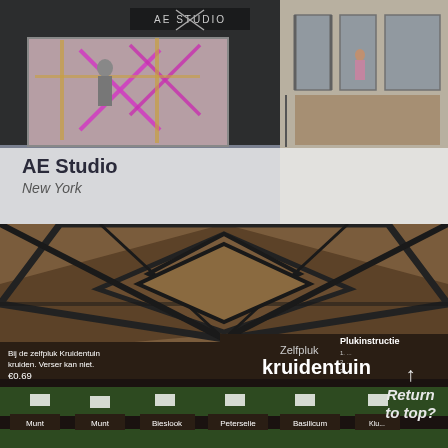[Figure (photo): Exterior of AE Studio store in New York with neon pink X lighting display in the window and a dark facade with the text AE STUDIO above]
AE Studio
New York
[Figure (photo): Interior of Zelfpluk Kruidentuin (self-pick herb garden) at Albert Heijn supermarket with geometric dark ceiling structure, herb plants growing in rows, and signs for Munt, Bieslook, Peterselie, Basilicum herbs. Price €0.69 visible. Return to top? arrow overlay.]
Return to top?